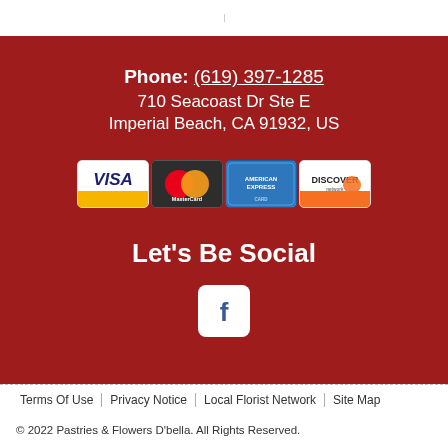Phone: (619) 397-1285
710 Seacoast Dr Ste E
Imperial Beach, CA 91932, US
[Figure (other): Payment card logos: Visa, MasterCard, American Express, Discover]
Let's Be Social
[Figure (logo): Facebook logo icon (white f on white rounded square background)]
Terms Of Use | Privacy Notice | Local Florist Network | Site Map
© 2022 Pastries & Flowers D'bella. All Rights Reserved.